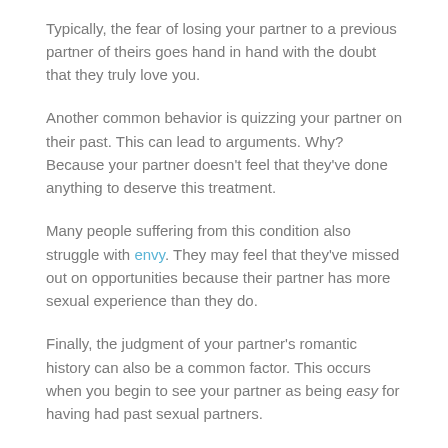have a fear of losing their partner to their past romantic or sexual partners.
Typically, the fear of losing your partner to a previous partner of theirs goes hand in hand with the doubt that they truly love you.
Another common behavior is quizzing your partner on their past. This can lead to arguments. Why? Because your partner doesn't feel that they've done anything to deserve this treatment.
Many people suffering from this condition also struggle with envy. They may feel that they've missed out on opportunities because their partner has more sexual experience than they do.
Finally, the judgment of your partner's romantic history can also be a common factor. This occurs when you begin to see your partner as being easy for having had past sexual partners.